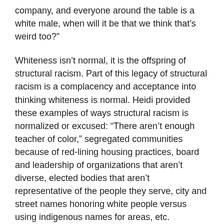company, and everyone around the table is a white male, when will it be that we think that’s weird too?"
Whiteness isn’t normal, it is the offspring of structural racism. Part of this legacy of structural racism is a complacency and acceptance into thinking whiteness is normal. Heidi provided these examples of ways structural racism is normalized or excused: “There aren’t enough teacher of color,” segregated communities because of red-lining housing practices, board and leadership of organizations that aren’t diverse, elected bodies that aren’t representative of the people they serve, city and street names honoring white people versus using indigenous names for areas, etc.
Structural racism holds down people of color by normalizing whiteness. My wicked smart colleague Paola Maranan taught me: “Racism is always self-